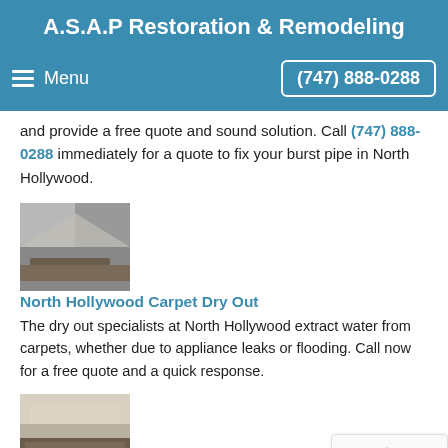A.S.A.P Restoration & Remodeling
Menu  (747) 888-0288
and provide a free quote and sound solution. Call (747) 888-0288 immediately for a quote to fix your burst pipe in North Hollywood.
[Figure (photo): Photo of wet/damaged carpet corner]
North Hollywood Carpet Dry Out
The dry out specialists at North Hollywood extract water from carpets, whether due to appliance leaks or flooding. Call now for a free quote and a quick response.
[Figure (photo): Photo of flood-damaged floor/carpet]
North Hollywood Flood Damage
If you have experienced flood damage in North Hol... the flood water restoration experts at A.S.A.P Restoration...